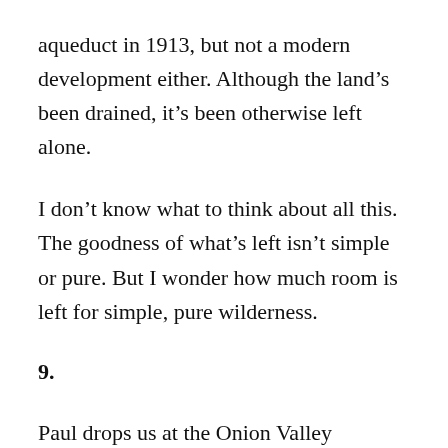aqueduct in 1913, but not a modern development either. Although the land's been drained, it's been otherwise left alone.
I don't know what to think about all this. The goodness of what's left isn't simple or pure. But I wonder how much room is left for simple, pure wilderness.
9.
Paul drops us at the Onion Valley Campground, where we quickly find a spot and setup for the night. As soon as we do, I feel ridiculously